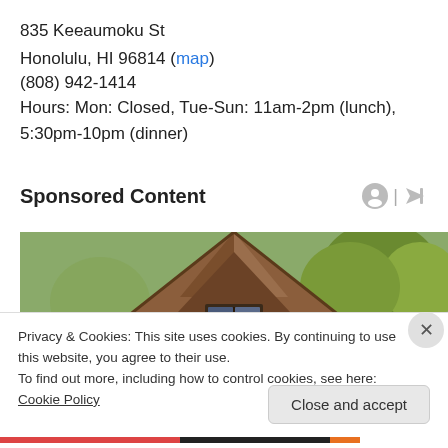835 Keeaumoku St
Honolulu, HI 96814 (map)
(808) 942-1414
Hours: Mon: Closed, Tue-Sun: 11am-2pm (lunch), 5:30pm-10pm (dinner)
Sponsored Content
[Figure (photo): A-frame cabin roof with trees in background, sponsored content advertisement image]
Privacy & Cookies: This site uses cookies. By continuing to use this website, you agree to their use. To find out more, including how to control cookies, see here: Cookie Policy
Close and accept